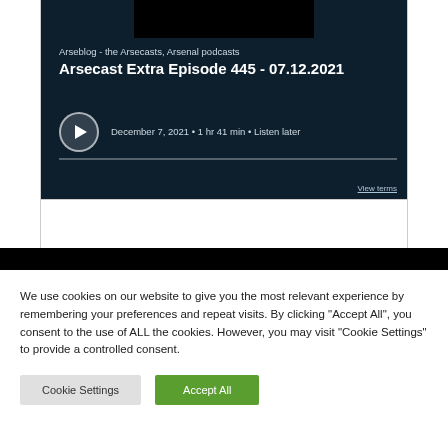[Figure (screenshot): Podcast player card for Arseblog showing 'Arsecast Extra Episode 445 - 07.12.2021' on dark navy background with play button, date December 7 2021, duration 1 hr 41 min, and Listen later link]
We use cookies on our website to give you the most relevant experience by remembering your preferences and repeat visits. By clicking "Accept All", you consent to the use of ALL the cookies. However, you may visit "Cookie Settings" to provide a controlled consent.
Cookie Settings | Accept All